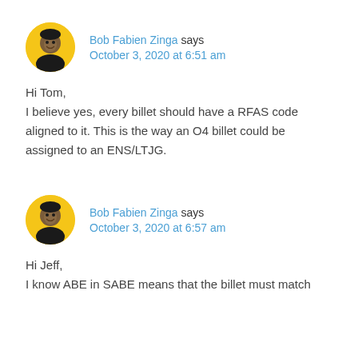[Figure (photo): Round avatar photo of Bob Fabien Zinga, a man with a yellow/gold circular background]
Bob Fabien Zinga says
October 3, 2020 at 6:51 am
Hi Tom,
I believe yes, every billet should have a RFAS code aligned to it. This is the way an O4 billet could be assigned to an ENS/LTJG.
[Figure (photo): Round avatar photo of Bob Fabien Zinga, a man with a yellow/gold circular background]
Bob Fabien Zinga says
October 3, 2020 at 6:57 am
Hi Jeff,
I know ABE in SABE means that the billet must match